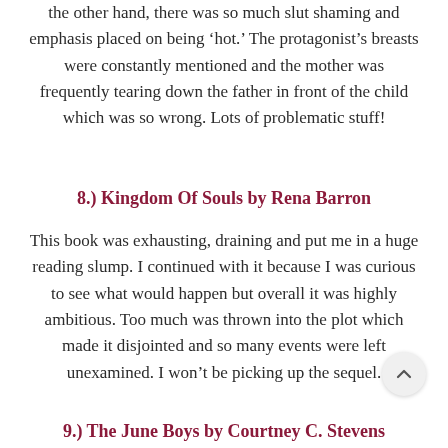the other hand, there was so much slut shaming and emphasis placed on being ‘hot.’ The protagonist’s breasts were constantly mentioned and the mother was frequently tearing down the father in front of the child which was so wrong. Lots of problematic stuff!
8.) Kingdom Of Souls by Rena Barron
This book was exhausting, draining and put me in a huge reading slump. I continued with it because I was curious to see what would happen but overall it was highly ambitious. Too much was thrown into the plot which made it disjointed and so many events were left unexamined. I won’t be picking up the sequel.
9.) The June Boys by Courtney C. Stevens